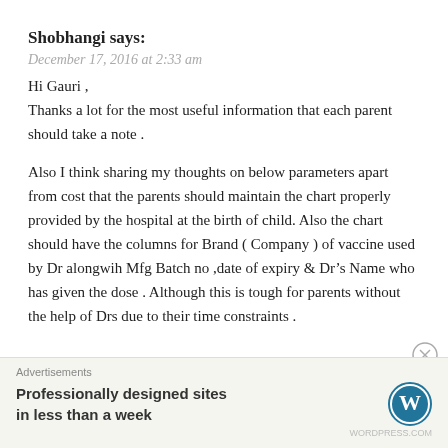Shobhangi says:
December 17, 2016 at 2:33 am
Hi Gauri ,
Thanks a lot for the most useful information that each parent should take a note .

Also I think sharing my thoughts on below parameters apart from cost that the parents should maintain the chart properly provided by the hospital at the birth of child. Also the chart should have the columns for Brand ( Company ) of vaccine used by Dr alongwih Mfg Batch no ,date of expiry & Dr’s Name who has given the dose . Although this is tough for parents without the help of Drs due to their time constraints .
Advertisements
Professionally designed sites in less than a week